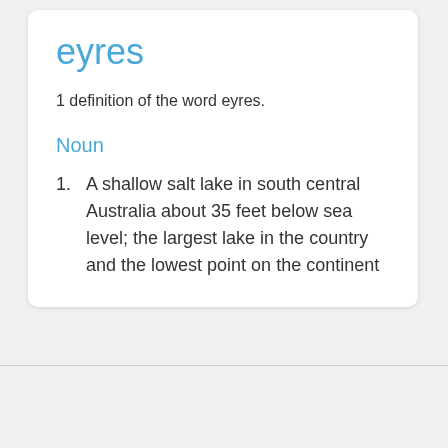eyres
1 definition of the word eyres.
Noun
A shallow salt lake in south central Australia about 35 feet below sea level; the largest lake in the country and the lowest point on the continent